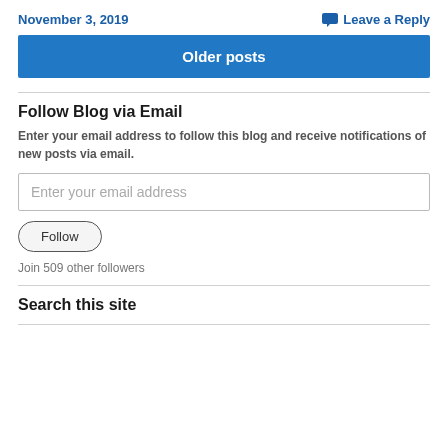November 3, 2019
Leave a Reply
Older posts
Follow Blog via Email
Enter your email address to follow this blog and receive notifications of new posts via email.
Enter your email address
Follow
Join 509 other followers
Search this site